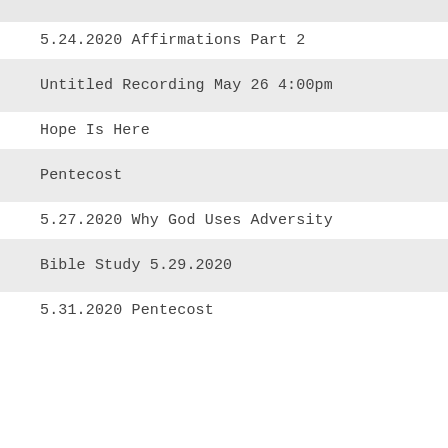5.24.2020 Affirmations Part 2
Untitled Recording May 26 4:00pm
Hope Is Here
Pentecost
5.27.2020 Why God Uses Adversity
Bible Study 5.29.2020
5.31.2020 Pentecost